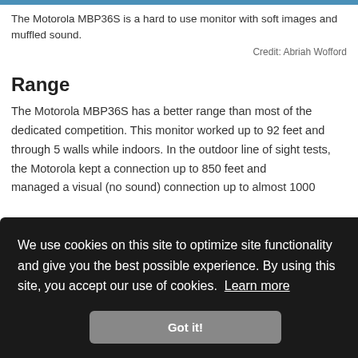The Motorola MBP36S is a hard to use monitor with soft images and muffled sound.
Credit: Abriah Wofford
Range
The Motorola MBP36S has a better range than most of the dedicated competition. This monitor worked up to 92 feet and through 5 walls while indoors. In the outdoor line of sight tests, the Motorola kept a connection up to 850 feet and managed a visual (no sound) connection up to almost 1000
We use cookies on this site to optimize site functionality and give you the best possible experience. By using this site, you accept our use of cookies. Learn more
Got it!